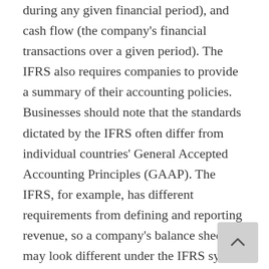during any given financial period), and cash flow (the company's financial transactions over a given period). The IFRS also requires companies to provide a summary of their accounting policies. Businesses should note that the standards dictated by the IFRS often differ from individual countries' General Accepted Accounting Principles (GAAP). The IFRS, for example, has different requirements from defining and reporting revenue, so a company's balance sheet may look different under the IFRS system than it does according to their country's GAAP.  Other differences lie in the IFRS' definition of an expense and how expenses specified, among other things.